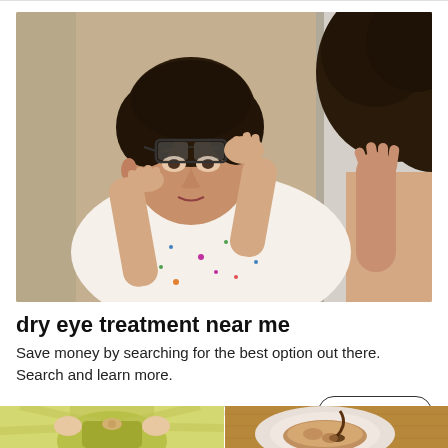[Figure (photo): An older woman with short dark hair examining her eye in a mirror, lifting her glasses up to her forehead with one hand and touching the skin under her eye with the other hand. A younger person with dark curly hair is seen from behind in the foreground.]
dry eye treatment near me
Save money by searching for the best option out there. Search and learn more.
Dry Eye Treatment | Search Ads | Sponsored
[Figure (illustration): Two partial images side by side at the bottom: left shows an animated/cartoon figure in a yellow-green shirt with hands raised; right shows a plate of food (pancake or similar) with sauce being drizzled on a wooden surface.]